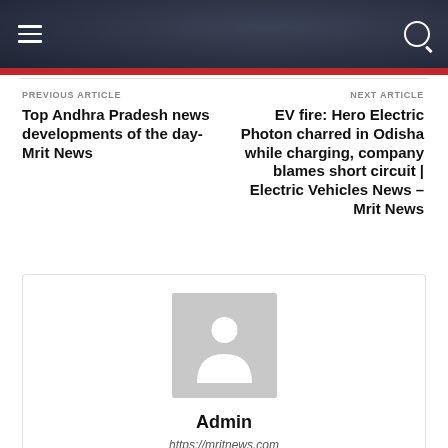Mrit News site header with hamburger menu and search icon
PREVIOUS ARTICLE
Top Andhra Pradesh news developments of the day- Mrit News
NEXT ARTICLE
EV fire: Hero Electric Photon charred in Odisha while charging, company blames short circuit | Electric Vehicles News – Mrit News
[Figure (illustration): Author avatar placeholder – grey silhouette of a person]
Admin
https://mritnews.com